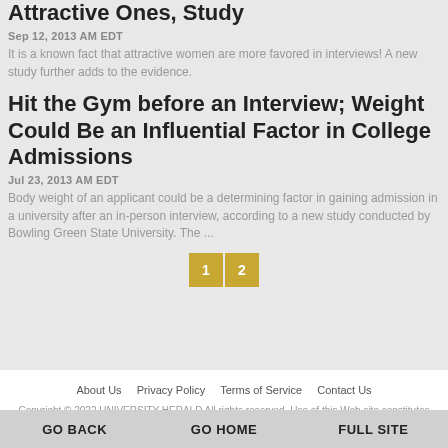Attractive Ones, Study
Sep 12, 2013 AM EDT
It is a known fact that attractive women are more favored in interviews! A new study further adds to the evidence.
Hit the Gym before an Interview; Weight Could Be an Influential Factor in College Admissions
Jul 23, 2013 AM EDT
Body weight of an applicant could be a determining factor in gaining admission in a university after an in-person interview, according to a new study conducted by Bowling Green State University. The ...
About Us   Privacy Policy   Terms of Service   Contact Us
Copyright © 2022 UNIVERSITY HERALD All rights reserved. Use of this Web site constitutes acceptance of our Terms and Conditions of Use and Privacy Policy.
GO BACK   GO HOME   FULL SITE